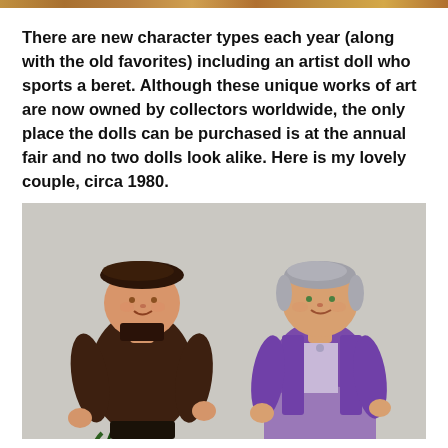[decorative border bar]
There are new character types each year (along with the old favorites) including an artist doll who sports a beret. Although these unique works of art are now owned by collectors worldwide, the only place the dolls can be purchased is at the annual fair and no two dolls look alike. Here is my lovely couple, circa 1980.
[Figure (photo): Two handmade fabric dolls photographed against a light grey background. The left doll is a male figure wearing a dark brown knit sweater and a dark brown beret. The right doll is a female figure wearing a purple knit cardigan over a floral blouse and a lilac skirt, with grey hair.]